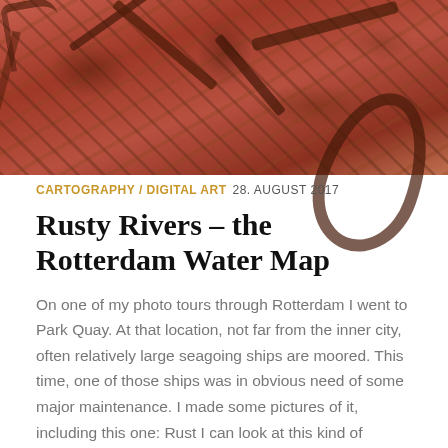[Figure (photo): Close-up photo of a rusty ship hull with reddish-orange and dark brown rust patterns forming abstract shapes and textures, with fragments of paint and metallic geometric marks visible.]
CARTOGRAPHY / DIGITAL ART  28. AUGUST 2017
Rusty Rivers – the Rotterdam Water Map
On one of my photo tours through Rotterdam I went to Park Quay. At that location, not far from the inner city, often relatively large seagoing ships are moored. This time, one of those ships was in obvious need of some major maintenance. I made some pictures of it, including this one: Rust I can look at this kind of pictures for hours. A lot of things are happening here on